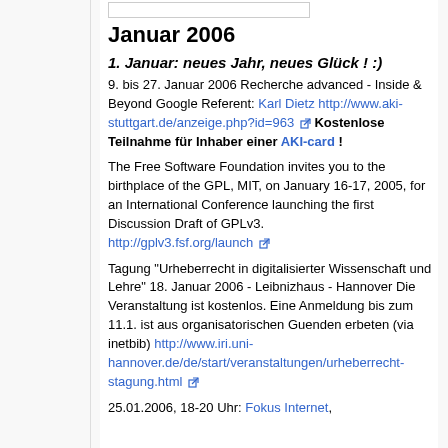Januar 2006
1. Januar: neues Jahr, neues Glück ! :)
9. bis 27. Januar 2006 Recherche advanced - Inside & Beyond Google Referent: Karl Dietz http://www.aki-stuttgart.de/anzeige.php?id=963 Kostenlose Teilnahme für Inhaber einer AKI-card !
The Free Software Foundation invites you to the birthplace of the GPL, MIT, on January 16-17, 2005, for an International Conference launching the first Discussion Draft of GPLv3. http://gplv3.fsf.org/launch
Tagung "Urheberrecht in digitalisierter Wissenschaft und Lehre" 18. Januar 2006 - Leibnizhaus - Hannover Die Veranstaltung ist kostenlos. Eine Anmeldung bis zum 11.1. ist aus organisatorischen Guenden erbeten (via inetbib) http://www.iri.uni-hannover.de/de/start/veranstaltungen/urheberrechtstagung.html
25.01.2006, 18-20 Uhr: Fokus Internet,